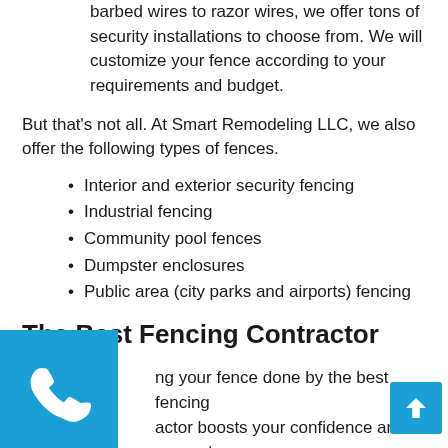barbed wires to razor wires, we offer tons of security installations to choose from. We will customize your fence according to your requirements and budget.
But that's not all. At Smart Remodeling LLC, we also offer the following types of fences.
Interior and exterior security fencing
Industrial fencing
Community pool fences
Dumpster enclosures
Public area (city parks and airports) fencing
The Best Fencing Contractor
ng your fence done by the best fencing actor boosts your confidence and guarantees